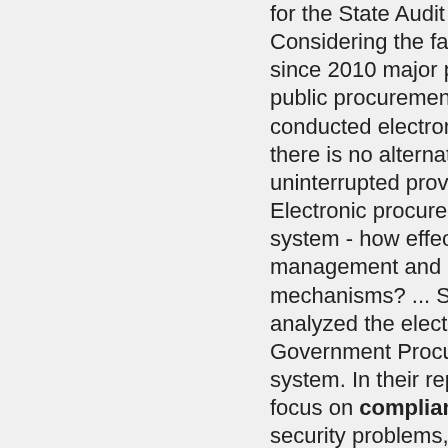for the State Audit Office. Considering the fact that since 2010 major part of public procurements is being conducted electronically and there is no alternative tool, uninterrupted provision ... ... Electronic procurement system - how effective are management and control mechanisms? ... SAI Georgia analyzed the electronic Government Procurement system. In their report they focus on compliance and security problems, which may harm the business goals and overall mission of the system. Full description